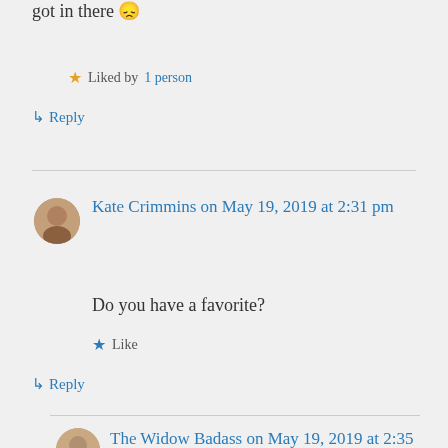got in there 😞
★ Liked by 1 person
↳ Reply
Kate Crimmins on May 19, 2019 at 2:31 pm
Do you have a favorite?
★ Like
↳ Reply
The Widow Badass on May 19, 2019 at 2:35 pm